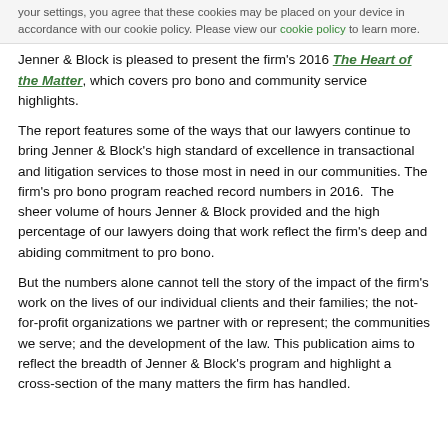your settings, you agree that these cookies may be placed on your device in accordance with our cookie policy. Please view our cookie policy to learn more.
Jenner & Block is pleased to present the firm's 2016 The Heart of the Matter, which covers pro bono and community service highlights.
The report features some of the ways that our lawyers continue to bring Jenner & Block's high standard of excellence in transactional and litigation services to those most in need in our communities. The firm's pro bono program reached record numbers in 2016.  The sheer volume of hours Jenner & Block provided and the high percentage of our lawyers doing that work reflect the firm's deep and abiding commitment to pro bono.
But the numbers alone cannot tell the story of the impact of the firm's work on the lives of our individual clients and their families; the not-for-profit organizations we partner with or represent; the communities we serve; and the development of the law. This publication aims to reflect the breadth of Jenner & Block's program and highlight a cross-section of the many matters the firm has handled.